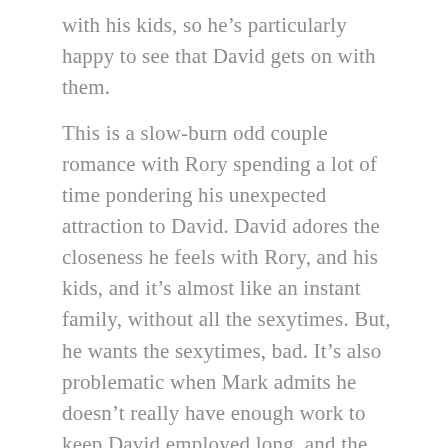with his kids, so he’s particularly happy to see that David gets on with them.
This is a slow-burn odd couple romance with Rory spending a lot of time pondering his unexpected attraction to David. David adores the closeness he feels with Rory, and his kids, and it’s almost like an instant family, without all the sexytimes. But, he wants the sexytimes, bad. It’s also problematic when Mark admits he doesn’t really have enough work to keep David employed long, and the alternative seems to be an offer from Xav to be his ‘kept boy’ as a piece on the side in London. It’s hardly a burning passion, and not even a shadow of the tenderness David experiences in the platonic hearth fires of Rory’s humble abode.